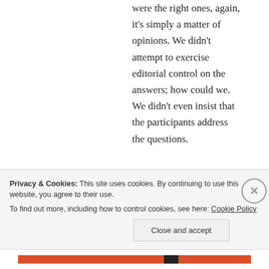were the right ones, again, it's simply a matter of opinions. We didn't attempt to exercise editorial control on the answers; how could we. We didn't even insist that the participants address the questions.

You are interpreting it as a particular power play
Privacy & Cookies: This site uses cookies. By continuing to use this website, you agree to their use.
To find out more, including how to control cookies, see here: Cookie Policy
Close and accept